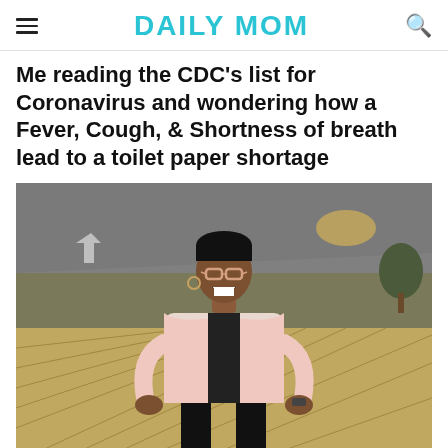DAILY MOM
Me reading the CDC's list for Coronavirus and wondering how a Fever, Cough, & Shortness of breath lead to a toilet paper shortage
[Figure (photo): A woman leaning forward with hands on knees, wearing pink blazer and glasses, laughing, outdoors with road and grass in background]